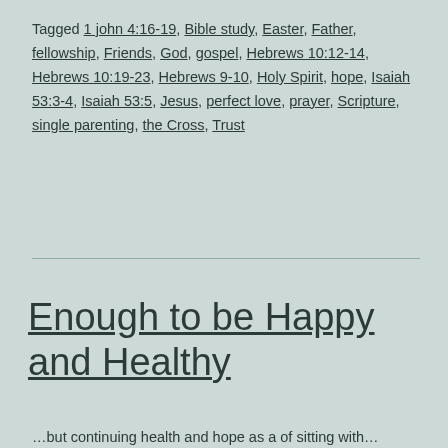Tagged 1 john 4:16-19, Bible study, Easter, Father, fellowship, Friends, God, gospel, Hebrews 10:12-14, Hebrews 10:19-23, Hebrews 9-10, Holy Spirit, hope, Isaiah 53:3-4, Isaiah 53:5, Jesus, perfect love, prayer, Scripture, single parenting, the Cross, Trust
Enough to be Happy and Healthy
…but continuing health and hope as a of sitting with…